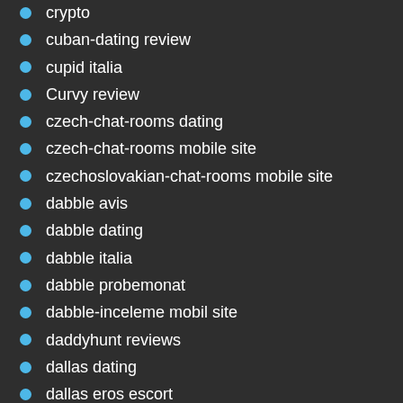crypto
cuban-dating review
cupid italia
Curvy review
czech-chat-rooms dating
czech-chat-rooms mobile site
czechoslovakian-chat-rooms mobile site
dabble avis
dabble dating
dabble italia
dabble probemonat
dabble-inceleme mobil site
daddyhunt reviews
dallas dating
dallas eros escort